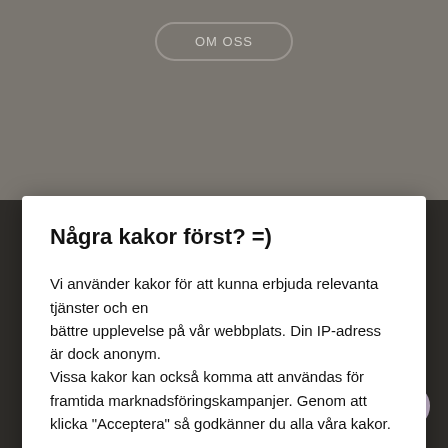[Figure (screenshot): Website background showing a dark brownish-gray page with a lighter gray top navigation area containing an 'OM OSS' button, and a dark bottom section with decorative line and text about Alanzo culinary services.]
Några kakor först? =)
Vi använder kakor för att kunna erbjuda relevanta tjänster och en bättre upplevelse på vår webbplats. Din IP-adress är dock anonym. Vissa kakor kan också komma att användas för framtida marknadsföringskampanjer. Genom att klicka "Acceptera" så godkänner du alla våra kakor.
Egenskaper
Acceptera